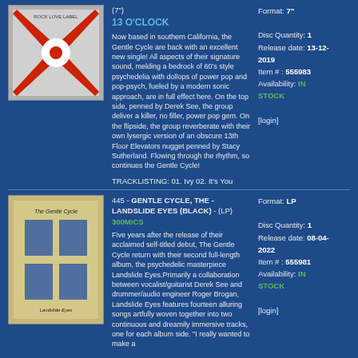[Figure (photo): Album cover for 13 O'Clock - red and white design with X pattern]
(7") 13 O'CLOCK
Now based in southern California, the Gentle Cycle are back with an excellent new single! All aspects of their signature sound, melding a bedrock of 60's style psychedelia with dollops of power pop and pop-psych, fueled by a modern sonic approach, are in full effect here. On the top side, penned by Derek See, the group deliver a killer, no filler, power pop gem. On the flipside, the group reverberate with their own lysergic version of an obscure 13th Floor Elevators nugget penned by Stacy Sutherland. Flowing through the rhythm, so continues the Gentle Cycle!
TRACKLISTING: 01. Ivy 02. It's You
Format: 7"
Disc Quantity: 1
Release date: 13-12-2019
Item # : 555983
Availability: IN STOCK
[login]
[Figure (photo): Album cover for Landslide Eyes - blue and white geometric design]
445 - GENTLE CYCLE, THE - LANDSLIDE EYES (BLACK) - (LP) 300MICS
Five years after the release of their acclaimed self-titled debut, The Gentle Cycle return with their second full-length album, the psychedelic masterpiece Landslide Eyes.Primarily a collaboration between vocalist/guitarist Derek See and drummer/audio engineer Roger Brogan, Landslide Eyes features fourteen alluring songs artfully woven together into two continuous and dreamily immersive tracks, one for each album side. "I really wanted to make a
Format: LP
Disc Quantity: 1
Release date: 08-04-2022
Item # : 555981
Availability: IN STOCK
[login]